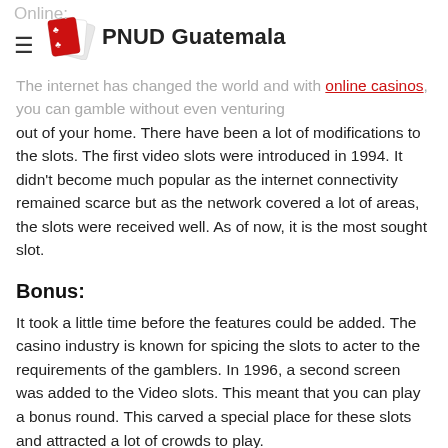Online: ≡ PNUD Guatemala
The internet has changed the world and with online casinos, you can gamble without even venturing out of your home. There have been a lot of modifications to the slots. The first video slots were introduced in 1994. It didn't become much popular as the internet connectivity remained scarce but as the network covered a lot of areas, the slots were received well. As of now, it is the most sought slot.
Bonus:
It took a little time before the features could be added. The casino industry is known for spicing the slots to acter to the requirements of the gamblers. In 1996, a second screen was added to the Video slots. This meant that you can play a bonus round. This carved a special place for these slots and attracted a lot of crowds to play.